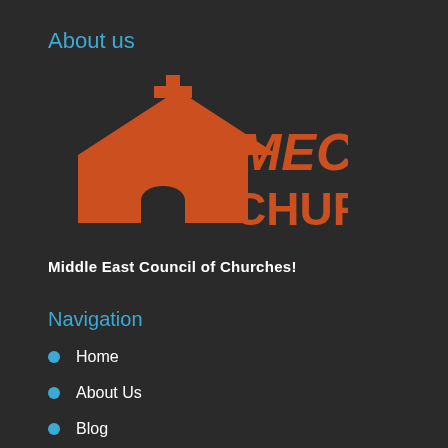About us
[Figure (logo): MEC Church logo with orange church building with cross and text 'MEC CHURCH' in orange letters]
Middle East Council of Churches!
Navigation
Home
About Us
Blog
Contact Us